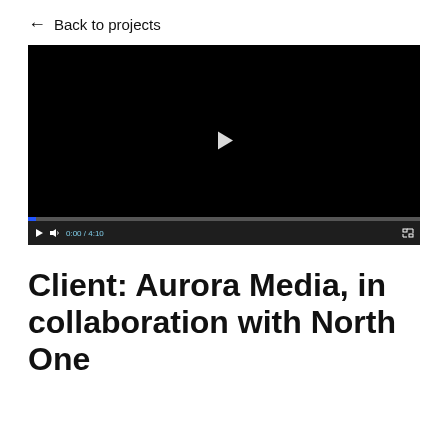← Back to projects
[Figure (screenshot): Video player with black screen showing a play button in the center. Control bar at bottom shows play button, volume icon, timestamp '0:00 / 4:10', and fullscreen button. Progress bar at bottom left shows a small blue fill.]
Client: Aurora Media, in collaboration with North One